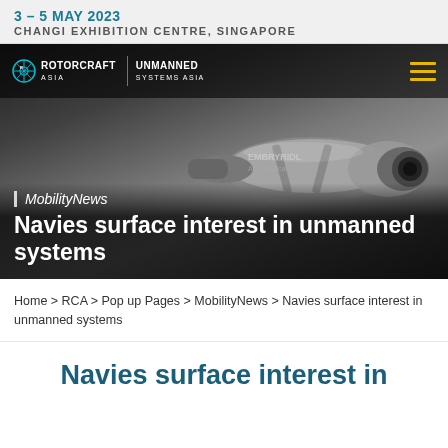3 – 5 MAY 2023
CHANGI EXHIBITION CENTRE, SINGAPORE
[Figure (screenshot): Hero banner with blurred drone image in background, navigation bar with Rotorcraft Asia and Unmanned Systems Asia logos, hamburger menu icon, MobilityNews label, and article title 'Navies surface interest in unmanned systems']
Home > RCA > Pop up Pages > MobilityNews > Navies surface interest in unmanned systems
Navies surface interest in unmanned systems